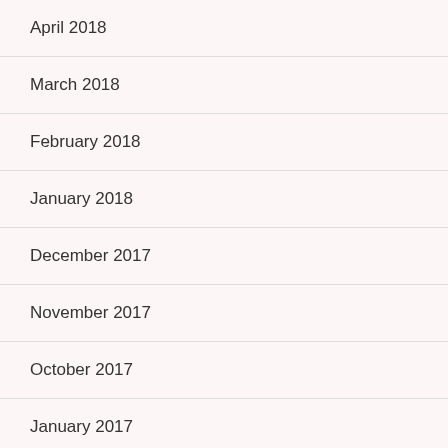April 2018
March 2018
February 2018
January 2018
December 2017
November 2017
October 2017
January 2017
December 2016
November 2016